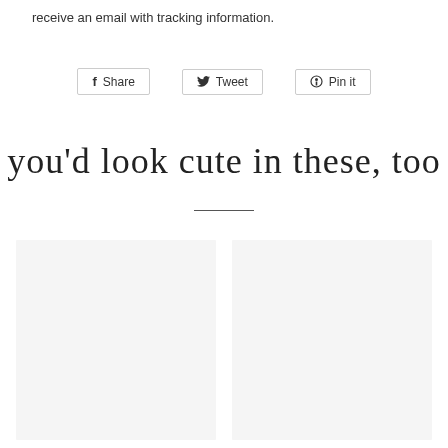receive an email with tracking information.
Share  Tweet  Pin it
you'd look cute in these, too
[Figure (photo): Two product image placeholder cards side by side, light gray background]